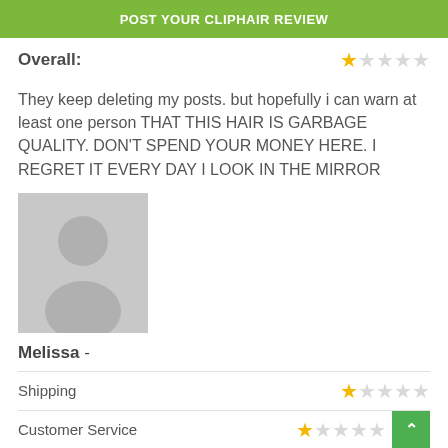POST YOUR CLIPHAIR REVIEW
Overall:
They keep deleting my posts. but hopefully i can warn at least one person THAT THIS HAIR IS GARBAGE QUALITY. DON'T SPEND YOUR MONEY HERE. I REGRET IT EVERY DAY I LOOK IN THE MIRROR
[Figure (illustration): Gray placeholder avatar silhouette of a person]
Melissa -
Shipping — 1 star out of 5
Customer Service — 1 star out of 5
Quality — 1 star out of 5